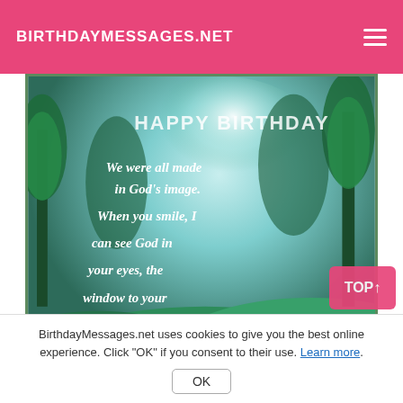BIRTHDAYMESSAGES.NET
[Figure (illustration): Birthday card image with a magical forest meadow background in teal/green tones with glowing light. White italic text reads: 'HAPPY BIRTHDAY We were all made in God's image. When you smile, I can see God in your eyes, the window to your beautiful soul.' Small text at bottom: BIRTHDAYMESSAGES.NET]
BirthdayMessages.net uses cookies to give you the best online experience. Click "OK" if you consent to their use. Learn more.
OK